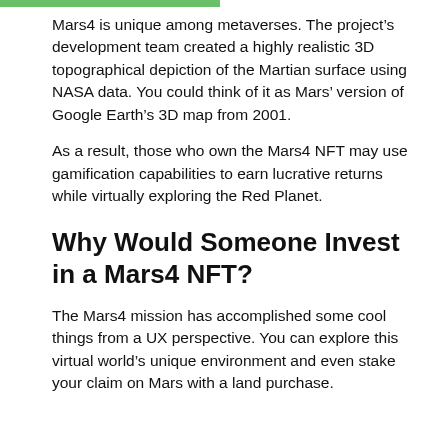Mars4 is unique among metaverses. The project's development team created a highly realistic 3D topographical depiction of the Martian surface using NASA data. You could think of it as Mars' version of Google Earth's 3D map from 2001.
As a result, those who own the Mars4 NFT may use gamification capabilities to earn lucrative returns while virtually exploring the Red Planet.
Why Would Someone Invest in a Mars4 NFT?
The Mars4 mission has accomplished some cool things from a UX perspective. You can explore this virtual world's unique environment and even stake your claim on Mars with a land purchase.